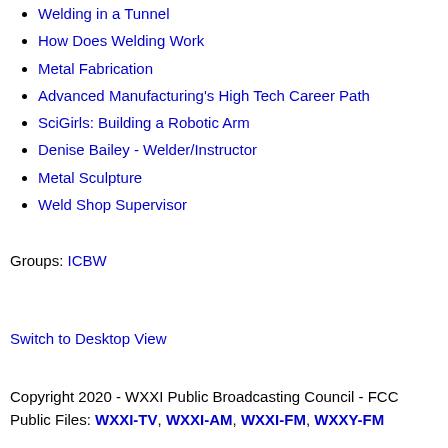Welding in a Tunnel
How Does Welding Work
Metal Fabrication
Advanced Manufacturing's High Tech Career Path
SciGirls: Building a Robotic Arm
Denise Bailey - Welder/Instructor
Metal Sculpture
Weld Shop Supervisor
Groups: ICBW
Switch to Desktop View
Copyright 2020 - WXXI Public Broadcasting Council - FCC Public Files: WXXI-TV, WXXI-AM, WXXI-FM, WXXY-FM